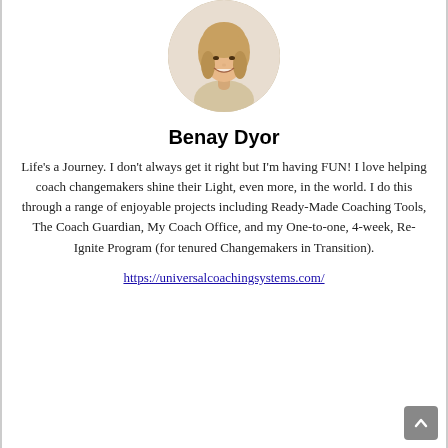[Figure (photo): Circular profile photo of a smiling woman with curly blonde hair, wearing a beige/cream top, on a light background.]
Benay Dyor
Life's a Journey. I don't always get it right but I'm having FUN! I love helping coach changemakers shine their Light, even more, in the world. I do this through a range of enjoyable projects including Ready-Made Coaching Tools, The Coach Guardian, My Coach Office, and my One-to-one, 4-week, Re-Ignite Program (for tenured Changemakers in Transition).
https://universalcoachingsystems.com/